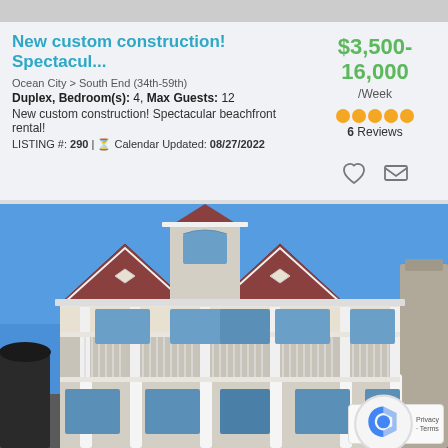New custom construction! Spectacul...
Ocean City > South End (34th-59th)
Duplex, Bedroom(s): 4, Max Guests: 12
New custom construction! Spectacular beachfront rental!
LISTING #: 290 | Calendar Updated: 08/27/2022
$3,500-16,000 /Week
6 Reviews
[Figure (photo): Exterior photo of a large white Victorian-style beachfront duplex with multiple porches, white columns, and a turret under a blue sky.]